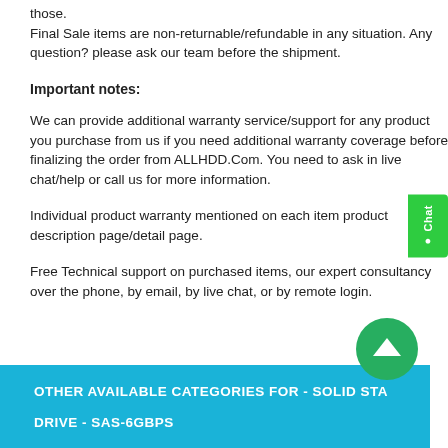those.
Final Sale items are non-returnable/refundable in any situation. Any question? please ask our team before the shipment.
Important notes:
We can provide additional warranty service/support for any product you purchase from us if you need additional warranty coverage before finalizing the order from ALLHDD.Com. You need to ask in live chat/help or call us for more information.
Individual product warranty mentioned on each item product description page/detail page.
Free Technical support on purchased items, our expert consultancy over the phone, by email, by live chat, or by remote login.
OTHER AVAILABLE CATEGORIES FOR - SOLID STATE DRIVE - SAS-6GBPS